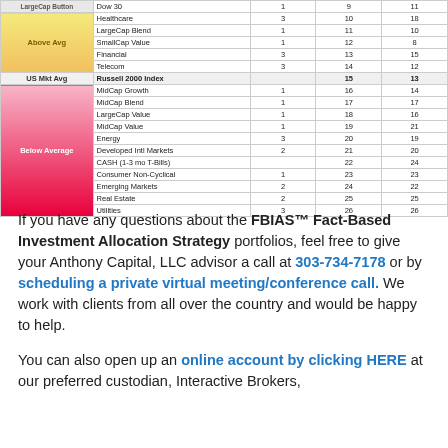| Category | Asset Class | Col3 | Rank1 | Rank2 |
| --- | --- | --- | --- | --- |
|  | Dow 30 | 1 | 9 | 11 |
| Above Avg | Healthcare | 3 | 10 | 18 |
|  | LargeCap Blend | 1 | 11 | 10 |
|  | SmallCap Value | 1 | 12 | 8 |
|  | Financial | 3 | 13 | 15 |
|  | Telecom | 3 | 14 | 12 |
| US Mkt Avg | Russell 2000 Index |  | 15 | 13 |
| Below Average | MidCap Growth | 1 | 16 | 14 |
|  | MidCap Blend | 1 | 17 | 17 |
|  | LargeCap Value | 1 | 18 | 16 |
|  | MidCap Value | 1 | 19 | 21 |
|  | Energy | 3 | 20 | 19 |
|  | Developed Intl Markets | 2 | 21 | 20 |
|  | CASH (1-3 mo T-Bills) |  | 22 | 24 |
|  | Consumer Non-Cyclical | 1 | 23 | 23 |
|  | Emerging Markets | 2 | 24 | 22 |
|  | Real Estate | 2 | 25 | 25 |
|  | Utilities | 3 | 26 | 26 |
If you have any questions about the FBIAS™ Fact-Based Investment Allocation Strategy portfolios, feel free to give your Anthony Capital, LLC advisor a call at 303-734-7178 or by scheduling a private virtual meeting/conference call.  We work with clients from all over the country and would be happy to help.
You can also open up an online account by clicking HERE at our preferred custodian, Interactive Brokers,